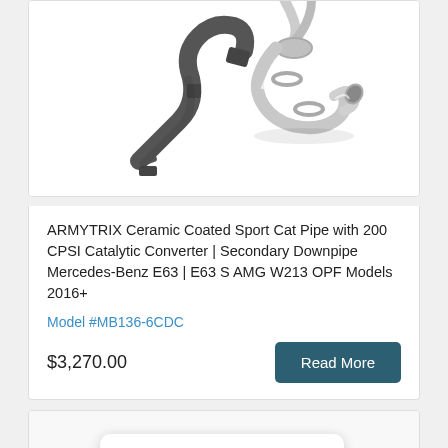[Figure (photo): ARMYTRIX ceramic coated sport cat pipe / secondary downpipe product photo showing dark curved pipe sections and polished exhaust components on white background]
ARMYTRIX Ceramic Coated Sport Cat Pipe with 200 CPSI Catalytic Converter | Secondary Downpipe Mercedes-Benz E63 | E63 S AMG W213 OPF Models 2016+
Model #MB136-6CDC
$3,270.00
[Figure (screenshot): Partial product card at bottom of page with chat popup overlay reading 'We're offline / Leave a message' with green chat bubble icon]